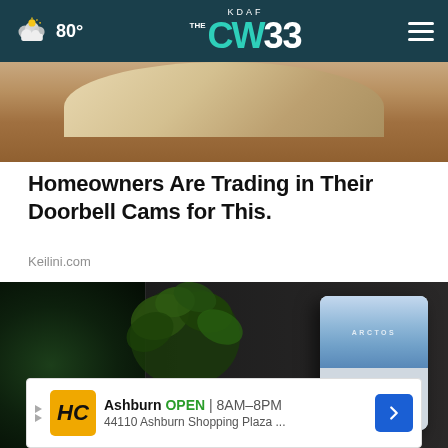KDAF CW33 | 80°
[Figure (photo): Partial view of a person wearing a hat, cropped at the top]
Homeowners Are Trading in Their Doorbell Cams for This.
Keilini.com
[Figure (photo): Arctos portable air cooler on a desk next to a laptop and green plant]
Ashburn OPEN | 8AM–8PM
44110 Ashburn Shopping Plaza ...